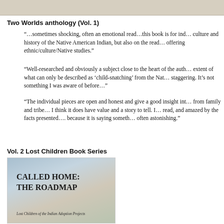Two Worlds anthology (Vol. 1)
“…sometimes shocking, often an emotional read…this book is for individuals interested not only in the culture and history of the Native American Indian, but also on the reading lists of universities offering ethnic/culture/Native studies.”
“Well-researched and obviously a subject close to the heart of the author… reveals the extent of what can only be described as ‘child-snatching’ from the Native American culture is staggering. It’s not something I was aware of before…”
“The individual pieces are open and honest and give a good insight into the pain of being separated from family and tribe… I think it does have value and a story to tell. I was surprised as I read, and amazed by the facts presented…. because it is saying something important, and it’s often astonishing.”
Vol. 2 Lost Children Book Series
[Figure (photo): Book cover for 'Called Home: The Roadmap - Lost Children of the Indian Adoption Projects' featuring a muted nature/landscape background with text overlay]